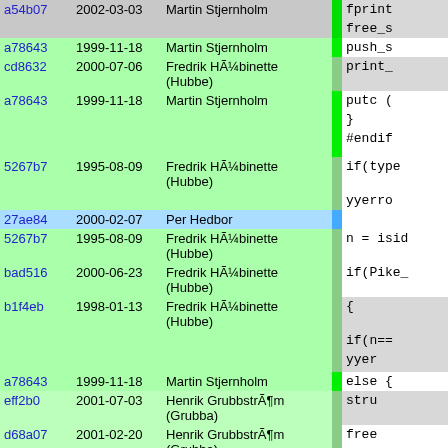| Hash | Date | Author | Bar | Code |
| --- | --- | --- | --- | --- |
| a54b07 | 2002-03-03 | Martin Stjernholm |  | fprint |
|  |  |  |  | free_s |
| a78643 | 1999-11-18 | Martin Stjernholm |  | push_s |
| cd8632 | 2000-07-06 | Fredrik HÃ¼binette (Hubbe) |  | print_ |
| a78643 | 1999-11-18 | Martin Stjernholm |  | putc ( |
|  |  |  |  | } |
|  |  |  |  | #endif |
| 5267b7 | 1995-08-09 | Fredrik HÃ¼binette (Hubbe) |  | if(type |
|  |  |  |  | yyerro |
| 27ae84 | 2000-02-07 | Per Hedbor |  |  |
| 5267b7 | 1995-08-09 | Fredrik HÃ¼binette (Hubbe) |  | n = isid |
| bad516 | 2000-06-23 | Fredrik HÃ¼binette (Hubbe) |  | if(Pike_ |
| b1f4eb | 1998-01-13 | Fredrik HÃ¼binette (Hubbe) |  | { |
|  |  |  |  | if(n== |
|  |  |  |  | yyer |
| a78643 | 1999-11-18 | Martin Stjernholm |  | else { |
| eff2b0 | 2001-07-03 | Henrik GrubbstrÃ¶m (Grubba) |  | stru |
| d68a07 | 2001-02-20 | Henrik GrubbstrÃ¶m (Grubba) |  | free |
| be6fec | 2001-04-01 | Henrik GrubbstrÃ¶m (Grubba) |  | copy |